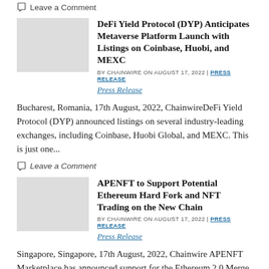Leave a Comment
DeFi Yield Protocol (DYP) Anticipates Metaverse Platform Launch with Listings on Coinbase, Huobi, and MEXC
BY CHAINWIRE ON AUGUST 17, 2022 | PRESS RELEASE
Press Release
Bucharest, Romania, 17th August, 2022, ChainwireDeFi Yield Protocol (DYP) announced listings on several industry-leading exchanges, including Coinbase, Huobi Global, and MEXC. This is just one...
Leave a Comment
APENFT to Support Potential Ethereum Hard Fork and NFT Trading on the New Chain
BY CHAINWIRE ON AUGUST 17, 2022 | PRESS RELEASE
Press Release
Singapore, Singapore, 17th August, 2022, Chainwire APENFT Marketplace has announced support for the Ethereum 2.0 Merge and its potential hard fork on Wednesday, August 10, which...